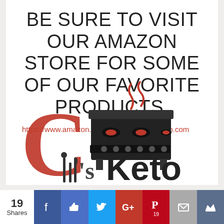BE SURE TO VISIT OUR AMAZON STORE FOR SOME OF OUR FAVORITE PRODUCTS.
https://www.amazon.com/shop/cjsketokitchen.com
[Figure (logo): CJ's Keto Kitchen logo with red C, stove graphic with steam swirls, and text CJ's Keto]
19 Shares | Facebook | Like | Twitter | Google+ | Pinterest 19 | Mail | Crown